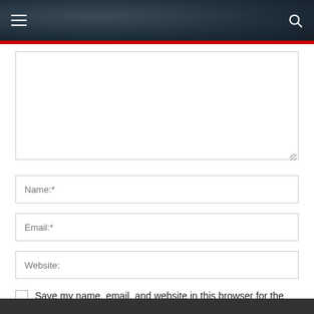Navigation header with hamburger menu and search icon
[Figure (screenshot): Comment form textarea (large empty text area with resize handle), Name field, Email field, Website field, and a checkbox labeled 'Save my name, email, and website in this browser for the next time I comment.']